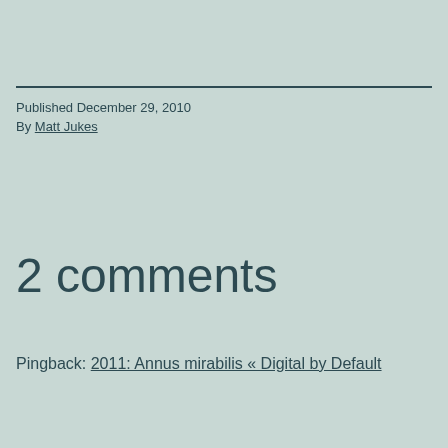Published December 29, 2010
By Matt Jukes
2 comments
Pingback: 2011: Annus mirabilis « Digital by Default